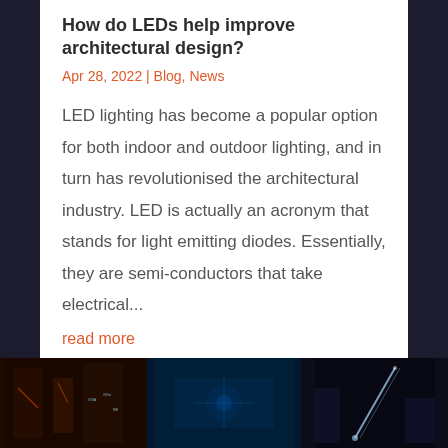How do LEDs help improve architectural design?
Apr 28, 2022 | Blog, News
LED lighting has become a popular option for both indoor and outdoor lighting, and in turn has revolutionised the architectural industry. LED is actually an acronym that stands for light emitting diodes. Essentially, they are semi-conductors that take electrical...
read more
[Figure (photo): Three dark nighttime architectural/LED lighting photos in a horizontal strip at the bottom of the page]